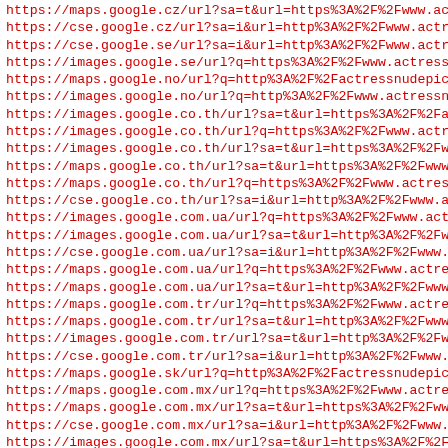https://maps.google.cz/url?sa=t&url=https%3A%2F%2Fwww.actre
https://cse.google.cz/url?sa=i&url=http%3A%2F%2Fwww.actress
https://cse.google.se/url?sa=i&url=http%3A%2F%2Fwww.actress
https://images.google.se/url?q=https%3A%2F%2Fwww.actressnud
https://maps.google.no/url?q=http%3A%2F%2Factressnudepic.co
https://images.google.no/url?q=http%3A%2F%2Fwww.actressnude
https://images.google.co.th/url?sa=t&url=https%3A%2F%2Factr
https://images.google.co.th/url?q=https%3A%2F%2Fwww.actress
https://images.google.co.th/url?sa=t&url=https%3A%2F%2Fwww.
https://maps.google.co.th/url?sa=t&url=https%3A%2F%2Fwww.ac
https://maps.google.co.th/url?q=https%3A%2F%2Fwww.actressnu
https://cse.google.co.th/url?sa=i&url=http%3A%2F%2Fwww.actr
https://images.google.com.ua/url?q=https%3A%2F%2Fwww.actres
https://images.google.com.ua/url?sa=t&url=http%3A%2F%2Fwww.
https://cse.google.com.ua/url?sa=i&url=http%3A%2F%2Fwww.act
https://maps.google.com.ua/url?q=https%3A%2F%2Fwww.actressn
https://maps.google.com.ua/url?sa=t&url=http%3A%2F%2Fwww.ac
https://maps.google.com.tr/url?q=https%3A%2F%2Fwww.actressn
https://maps.google.com.tr/url?sa=t&url=http%3A%2F%2Fwww.ac
https://images.google.com.tr/url?sa=t&url=http%3A%2F%2Fwww.
https://cse.google.com.tr/url?sa=i&url=http%3A%2F%2Fwww.act
https://maps.google.sk/url?q=http%3A%2F%2Factressnudepic.co
https://maps.google.com.mx/url?q=https%3A%2F%2Fwww.actressn
https://maps.google.com.mx/url?sa=t&url=https%3A%2F%2Fwww.a
https://cse.google.com.mx/url?sa=i&url=http%3A%2F%2Fwww.act
https://images.google.com.mx/url?sa=t&url=https%3A%2F%2Fwww
https://images.google.com.mx/url?q=https%3A%2F%2Fwww.actres
https://images.google.com.mx/url?sa=t&url=https%3A%2F%2Fact
https://cse.google.dk/url?sa=i&url=http%3A%2F%2Fwww.actress
https://images.google.dk/url?q=https%3A%2F%2Fwww.actressnud